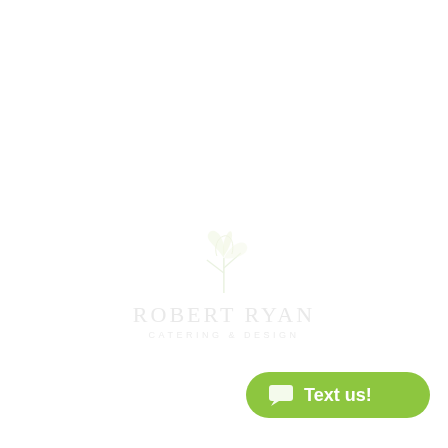[Figure (logo): Robert Ryan Catering & Design logo — faint green watermark style illustration of a figure above the text 'ROBERT RYAN' and 'CATERING & DESIGN']
[Figure (other): Green pill-shaped 'Text us!' button with chat bubble icon in the bottom-right corner]